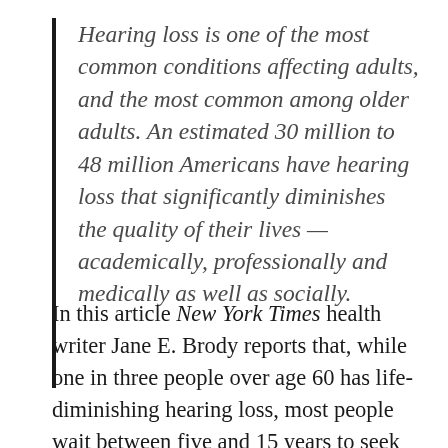Hearing loss is one of the most common conditions affecting adults, and the most common among older adults. An estimated 30 million to 48 million Americans have hearing loss that significantly diminishes the quality of their lives — academically, professionally and medically as well as socially.
In this article New York Times health writer Jane E. Brody reports that, while one in three people over age 60 has life-diminishing hearing loss, most people wait between five and 15 years to seek help. A large survey by the National Council on the Aging found that those who had